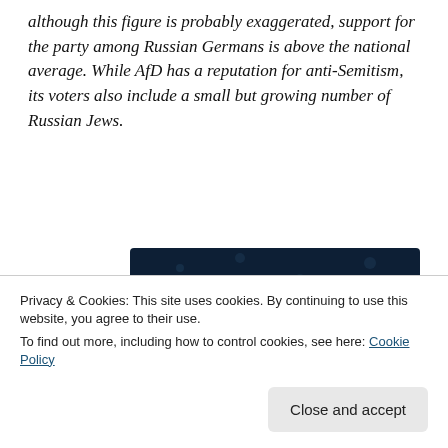although this figure is probably exaggerated, support for the party among Russian Germans is above the national average. While AfD has a reputation for anti-Semitism, its voters also include a small but growing number of Russian Jews.
[Figure (infographic): Dark blue advertisement banner with white bold text reading 'polls, quizzes, and forms.' with a pink 'Start now' button and a Crowdsignal/CrowdUI logo in the bottom right corner.]
Privacy & Cookies: This site uses cookies. By continuing to use this website, you agree to their use.
To find out more, including how to control cookies, see here: Cookie Policy
Close and accept